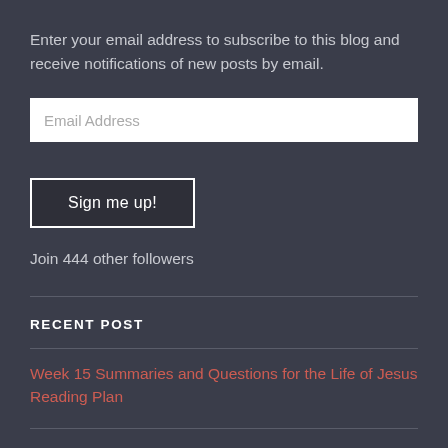Enter your email address to subscribe to this blog and receive notifications of new posts by email.
[Figure (other): Email Address input field (white text input box)]
[Figure (other): Sign me up! button with white border on dark background]
Join 444 other followers
RECENT POST
Week 15 Summaries and Questions for the Life of Jesus Reading Plan
Jesus' Healing Touch